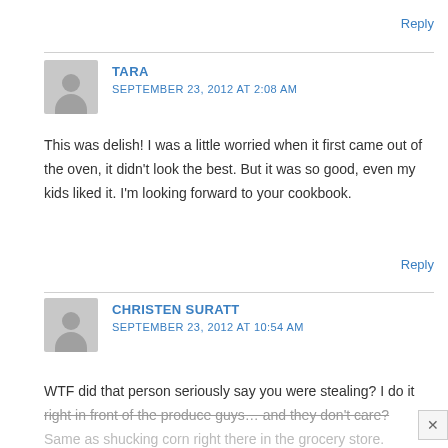Reply
TARA
SEPTEMBER 23, 2012 AT 2:08 AM
This was delish! I was a little worried when it first came out of the oven, it didn't look the best. But it was so good, even my kids liked it. I'm looking forward to your cookbook.
Reply
CHRISTEN SURATT
SEPTEMBER 23, 2012 AT 10:54 AM
WTF did that person seriously say you were stealing? I do it right in front of the produce guys… and they don't care? Same as shucking corn right there in the grocery store.